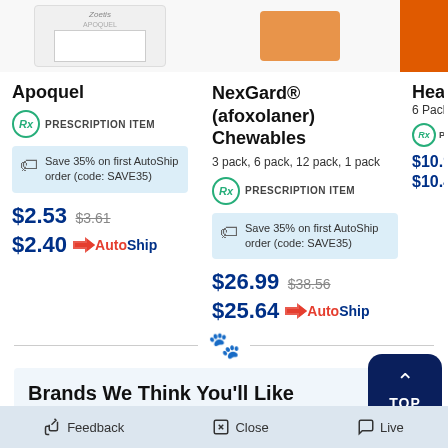[Figure (screenshot): Product image of Apoquel medication box (Zoetis brand), partially visible at top]
[Figure (screenshot): Product image of NexGard Chewables box, partially visible at top, orange accent]
Apoquel
PRESCRIPTION ITEM
Save 35% on first AutoShip order (code: SAVE35)
$2.53 $3.61
$2.40 AutoShip
NexGard® (afoxolaner) Chewables
3 pack, 6 pack, 12 pack, 1 pack
PRESCRIPTION ITEM
Save 35% on first AutoShip order (code: SAVE35)
$26.99 $38.56
$25.64 AutoShip
Heartg...
6 Pack
$10.9...
$10.4...
Brands We Think You'll Like
Feedback   Close   Live